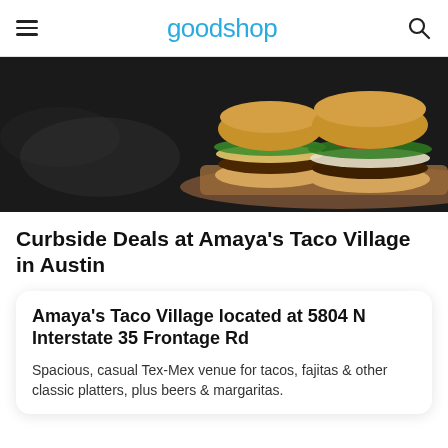goodshop
[Figure (photo): Two large burgers with lettuce, tomato, onion, and beef patties on a wooden board against a dark background]
Curbside Deals at Amaya's Taco Village in Austin
Amaya's Taco Village located at 5804 N Interstate 35 Frontage Rd
Spacious, casual Tex-Mex venue for tacos, fajitas & other classic platters, plus beers & margaritas.